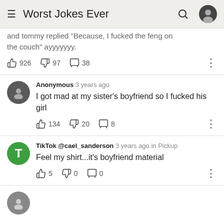Worst Jokes Ever
and tommy replied "Because, I fucked the feng on the couch" ayyyyyyy.
👍 926  👎 97  💬 38
Anonymous 3 years ago — I got mad at my sister's boyfriend so I fucked his girl — 👍 134  👎 20  💬 8
TikTok @cael_sanderson 3 years ago in Pickup — Feel my shirt...it's boyfriend material — 👍 5  👎 0  💬 0